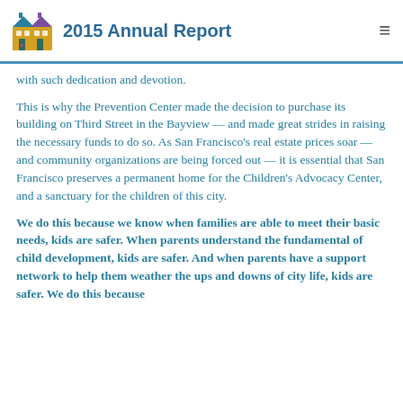2015 Annual Report
with such dedication and devotion.
This is why the Prevention Center made the decision to purchase its building on Third Street in the Bayview — and made great strides in raising the necessary funds to do so. As San Francisco's real estate prices soar — and community organizations are being forced out — it is essential that San Francisco preserves a permanent home for the Children's Advocacy Center, and a sanctuary for the children of this city.
We do this because we know when families are able to meet their basic needs, kids are safer. When parents understand the fundamental of child development, kids are safer. And when parents have a support network to help them weather the ups and downs of city life, kids are safer. We do this because